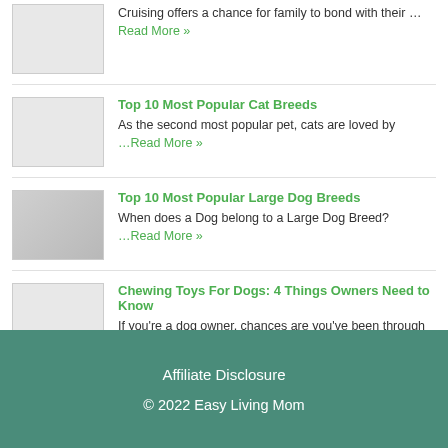Cruising offers a chance for family to bond with their …Read More »
Top 10 Most Popular Cat Breeds
As the second most popular pet, cats are loved by …Read More »
Top 10 Most Popular Large Dog Breeds
When does a Dog belong to a Large Dog Breed? …Read More »
Chewing Toys For Dogs: 4 Things Owners Need to Know
If you're a dog owner, chances are you've been through …Read More »
Affiliate Disclosure
© 2022 Easy Living Mom